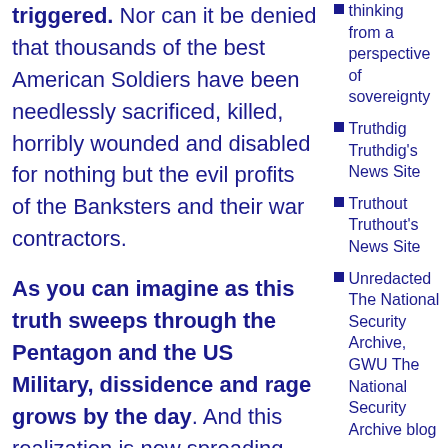triggered. Nor can it be denied that thousands of the best American Soldiers have been needlessly sacrificed, killed, horribly wounded and disabled for nothing but the evil profits of the Banksters and their war contractors.
As you can imagine as this truth sweeps through the Pentagon and the US Military, dissidence and rage grows by the day. And this realization is now spreading throughout the
thinking from a perspective of sovereignty
Truthdig Truthdig's News Site
Truthout Truthout's News Site
Unredacted The National Security Archive, GWU The National Security Archive blog
Veterans Today